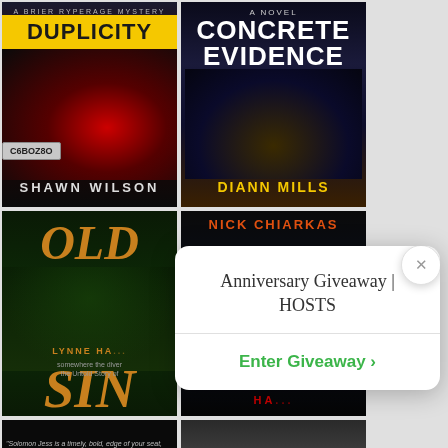[Figure (photo): Book cover grid showing multiple thriller/mystery novels: 'Duplicity' by Shawn Wilson (top-left), 'Concrete Evidence' by DiAnn Mills (top-right), 'Old Sins' by Lynne Handy (bottom-left), a Nick Chiarkas novel (bottom-right), partial covers of Brooke (unknown) and 'The Time' at very bottom]
Anniversary Giveaway | HOSTS
Enter Giveaway >